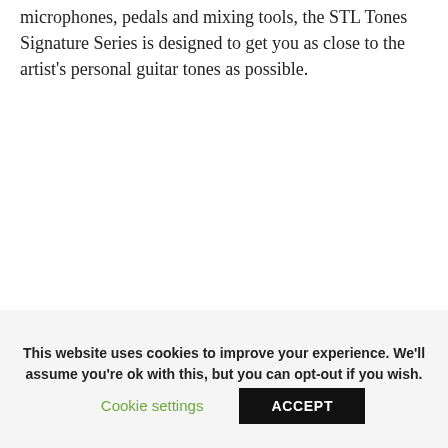Created with state of the art outboard gear, microphones, pedals and mixing tools, the STL Tones Signature Series is designed to get you as close to the artist's personal guitar tones as possible.
This website uses cookies to improve your experience. We'll assume you're ok with this, but you can opt-out if you wish.
Cookie settings
ACCEPT